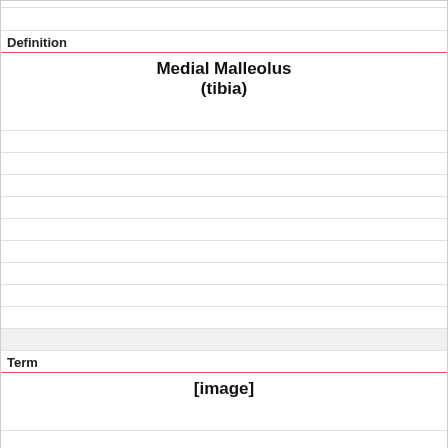Definition
Medial Malleolus
(tibia)
Term
[Figure (other): [image]]